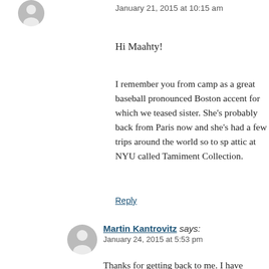January 21, 2015 at 10:15 am
Hi Maahty!
I remember you from camp as a great baseball pronounced Boston accent for which we teased sister. She's probably back from Paris now and she's had a few trips around the world so to sp attic at NYU called Tamiment Collection.
Reply
Martin Kantrovitz says:
January 24, 2015 at 5:53 pm
Thanks for getting back to me. I have summer(1953 I think) there. It reinfor Boston family and it was nonstop fun among other things, defended people and his House of UnAmerican Activit